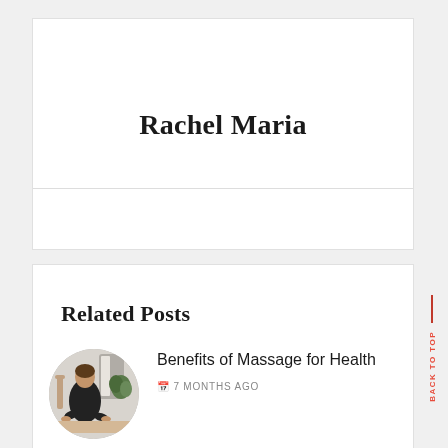Rachel Maria
Related Posts
[Figure (photo): Circular photo of a person in black clothing giving a massage, with a plant and chair visible in the background]
Benefits of Massage for Health
7 MONTHS AGO